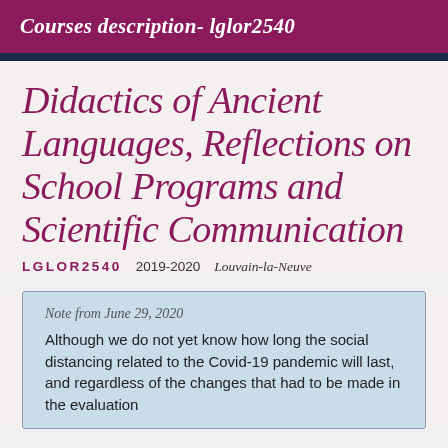Courses description- lglor2540
Didactics of Ancient Languages, Reflections on School Programs and Scientific Communication
LGLOR2540  2019-2020  Louvain-la-Neuve
Note from June 29, 2020
Although we do not yet know how long the social distancing related to the Covid-19 pandemic will last, and regardless of the changes that had to be made in the evaluation